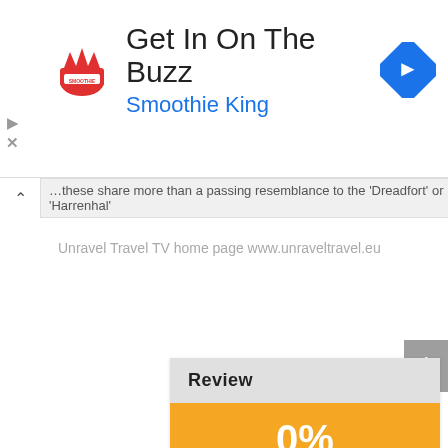[Figure (screenshot): Smoothie King advertisement banner with logo, heading 'Get In On The Buzz', subtitle 'Smoothie King', and a blue navigation arrow icon on the right]
…these share more than a passing resemblance to the 'Dreadfort' or 'Harrenhal'
Unravel Travel TV home page www.unraveltravel.eu
Review
0%